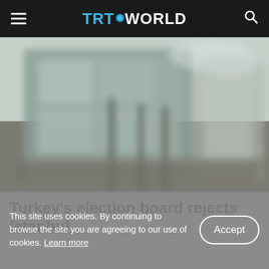TRT WORLD
[Figure (photo): Blurred exterior photograph of a building, likely a government or civic building, with muted grey-green tones.]
Turkey's election board rejects Istanbul mayor application
This site uses cookies. By continuing to browse the site you are agreeing to our use of cookies. Learn more